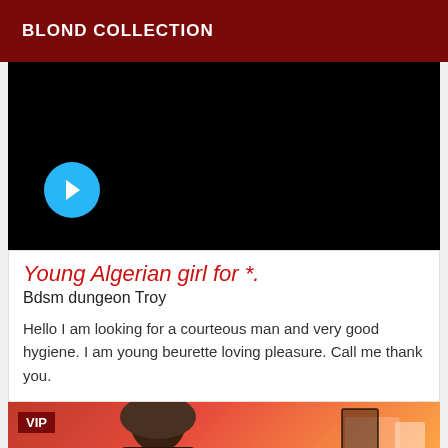BLOND COLLECTION
[Figure (screenshot): Black video player thumbnail with a blue circular play/back button on the left side]
Young Algerian girl for *.
Bdsm dungeon Troy
Hello I am looking for a courteous man and very good hygiene. I am young beurette loving pleasure. Call me thank you.
[Figure (photo): VIP labeled photo showing a person with dark hair against a red background with wall art]